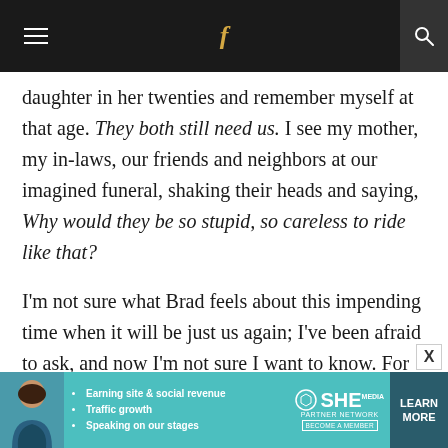Navigation bar with hamburger menu, Facebook icon, and search icon
daughter in her twenties and remember myself at that age. They both still need us. I see my mother, my in-laws, our friends and neighbors at our imagined funeral, shaking their heads and saying, Why would they be so stupid, so careless to ride like that?
I’m not sure what Brad feels about this impending time when it will be just us again; I’ve been afraid to ask, and now I’m not sure I want to know. For all the time we’ve been together, part of me has always been on the lookout for that
[Figure (screenshot): SHE Partner Network advertisement banner with photo of woman, bullet points, logo and Learn More button]